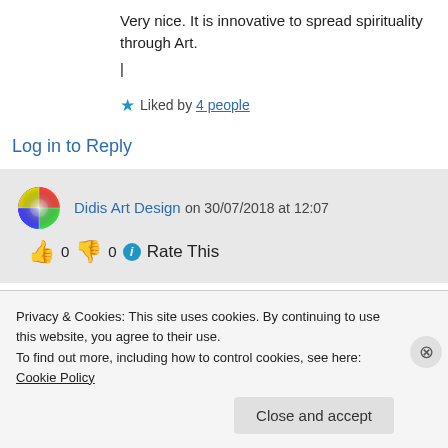Very nice. It is innovative to spread spirituality through Art.
|
★ Liked by 4 people
Log in to Reply
Didis Art Design on 30/07/2018 at 12:07
👍 0 👎 0 ℹ Rate This
Privacy & Cookies: This site uses cookies. By continuing to use this website, you agree to their use.
To find out more, including how to control cookies, see here: Cookie Policy
Close and accept